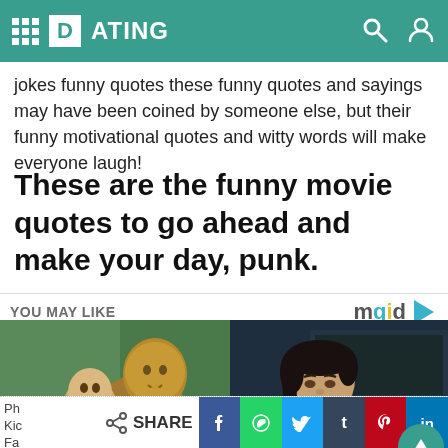DATING
jokes funny quotes these funny quotes and sayings may have been coined by someone else, but their funny motivational quotes and witty words will make everyone laugh!
These are the funny movie quotes to go ahead and make your day, punk.
YOU MAY LIKE
[Figure (photo): Man with tattoos kissing a baby]
[Figure (photo): Woman looking focused in athletic wear]
Ph
Kic
Fa